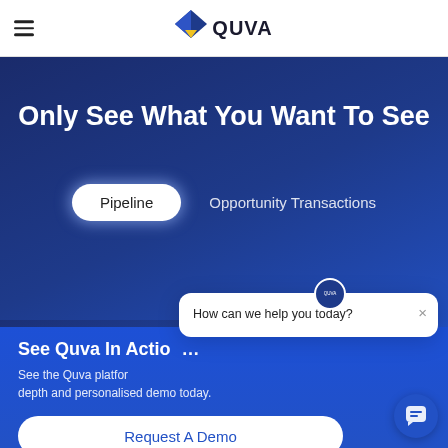QUVA
Only See What You Want To See
Pipeline
Opportunity Transactions
See Quva In Action
See the Quva platform in depth and personalised demo today.
Request A Demo
How can we help you today?